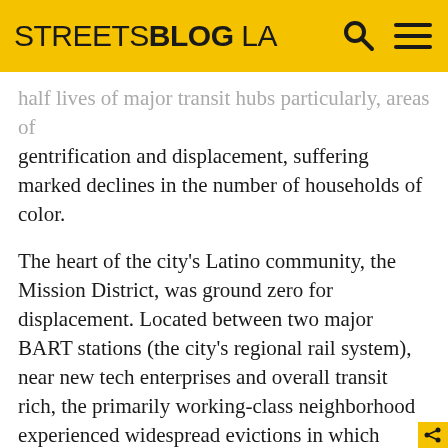STREETSBLOG LA
half lives of major transit hubs particularly, areas of gentrification and displacement, suffering marked declines in the number of households of color.
The heart of the city’s Latino community, the Mission District, was ground zero for displacement. Located between two major BART stations (the city’s regional rail system), near new tech enterprises and overall transit rich, the primarily working-class neighborhood experienced widespread evictions in which entire buildings were cleared for young professionals attracted to urban, transit-accessible living. In the midst of this crisis and despite the booming market, city administrators regularly provided developers with exemptions from inclusionary housing requirements and zoning